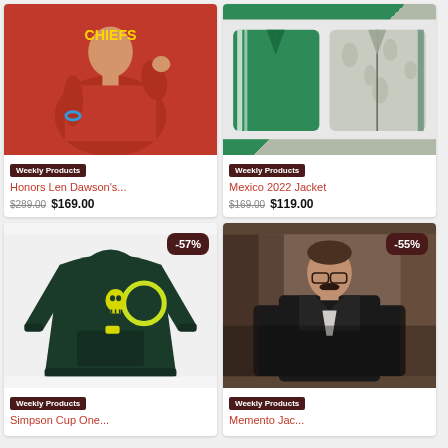[Figure (photo): Person wearing red Kansas City Chiefs hoodie/sweatshirt, raising fist, with blue bracelet]
Weekly Products
Honors Len Dawson's...
$289.00  $169.00
[Figure (photo): Two jackets displayed: green Adidas track jacket on left, gray floral zip-up jacket on right]
Weekly Products
Mexico 2022 Jacket
$169.00  $119.00
[Figure (photo): Dark green hoodie with yellow skull graphic, -57% discount badge in top right]
Weekly Products
Simpson Cup One...
[Figure (photo): Man with mustache wearing dark black bomber jacket, -55% discount badge in top right]
Weekly Products
Memento Jac...